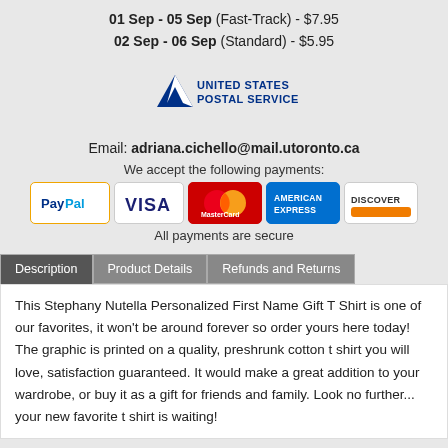01 Sep - 05 Sep (Fast-Track) - $7.95
02 Sep - 06 Sep (Standard) - $5.95
[Figure (logo): United States Postal Service (USPS) logo with eagle icon and blue text]
Email: adriana.cichello@mail.utoronto.ca
We accept the following payments:
[Figure (logo): Payment method logos: PayPal, Visa, MasterCard, American Express, Discover]
All payments are secure
Description
This Stephany Nutella Personalized First Name Gift T Shirt is one of our favorites, it won't be around forever so order yours here today! The graphic is printed on a quality, preshrunk cotton t shirt you will love, satisfaction guaranteed. It would make a great addition to your wardrobe, or buy it as a gift for friends and family. Look no further... your new favorite t shirt is waiting!